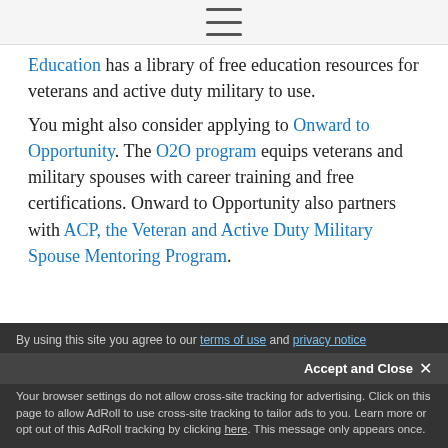[hamburger menu icon]
Education has a library of free education resources for veterans and active duty military to use.

You might also consider applying to Onward to Opportunity. The O2O program equips veterans and military spouses with career training and free certifications. Onward to Opportunity also partners with ACP, the Veteran and Active Duty Military Spouse Mentoring Program.
By using this site you agree to our terms of use and privacy notice
Accept and Close ✕
Your browser settings do not allow cross-site tracking for advertising. Click on this page to allow AdRoll to use cross-site tracking to tailor ads to you. Learn more or opt out of this AdRoll tracking by clicking here. This message only appears once.